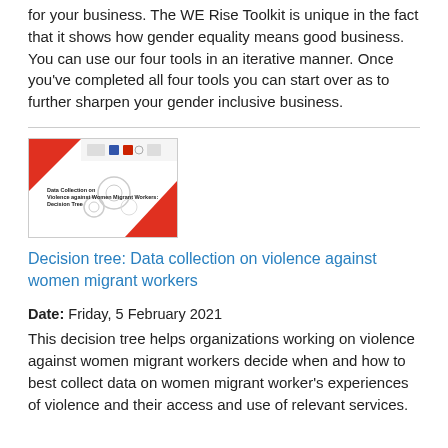for your business. The WE Rise Toolkit is unique in the fact that it shows how gender equality means good business. You can use our four tools in an iterative manner. Once you've completed all four tools you can start over as to further sharpen your gender inclusive business.
[Figure (illustration): Thumbnail image of a document titled 'Data Collection on Violence against Women Migrant Workers: Decision Tree' with a red diagonal design and gear/circle graphics.]
Decision tree: Data collection on violence against women migrant workers
Date: Friday, 5 February 2021
This decision tree helps organizations working on violence against women migrant workers decide when and how to best collect data on women migrant worker's experiences of violence and their access and use of relevant services.